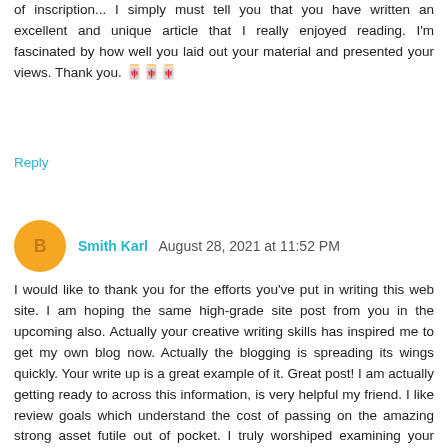of inscription... I simply must tell you that you have written an excellent and unique article that I really enjoyed reading. I'm fascinated by how well you laid out your material and presented your views. Thank you. 🀄🀄🀄
Reply
Smith Karl  August 28, 2021 at 11:52 PM
I would like to thank you for the efforts you've put in writing this web site. I am hoping the same high-grade site post from you in the upcoming also. Actually your creative writing skills has inspired me to get my own blog now. Actually the blogging is spreading its wings quickly. Your write up is a great example of it. Great post! I am actually getting ready to across this information, is very helpful my friend. I like review goals which understand the cost of passing on the amazing strong asset futile out of pocket. I truly worshiped examining your posting. Grateful to you! Customary visits recorded here are the most straightforward technique to value your vitality, which is the reason why I am heading off to the site regular, hunting